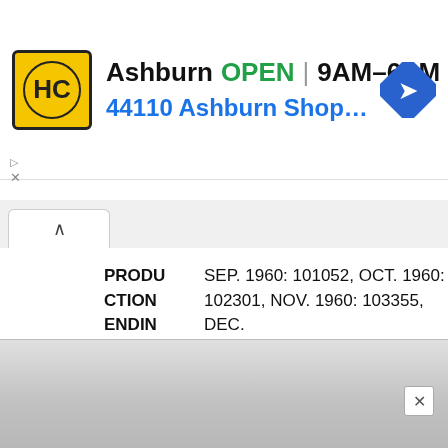[Figure (infographic): Ad banner showing HC auto parts logo, Ashburn location, OPEN status, hours 9AM-6PM, address 44110 Ashburn Shopping Plaza 1., and navigation arrow icon]
| PRODUCTION ENDING VEHICLE: | SEP. 1960: 101052, OCT. 1960: 102301, NOV. 1960: 103355, DEC. 1960:104306, JAN. 1961: 105203, FEB. 1961: 105966, MAR. 1961: 106889, APR. 1961: 107804, MAY 1961: 108960, JUN. 1961: 110160, JUL. 1961: 110939 |